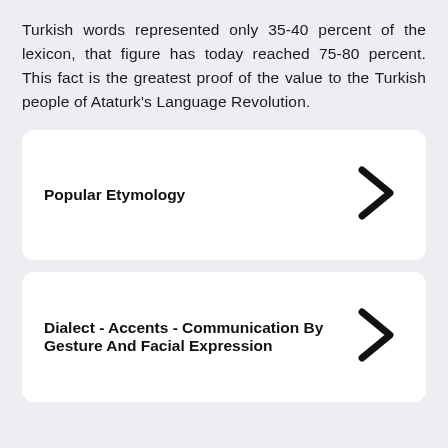Turkish words represented only 35-40 percent of the lexicon, that figure has today reached 75-80 percent. This fact is the greatest proof of the value to the Turkish people of Ataturk's Language Revolution.
Popular Etymology
Dialect - Accents - Communication By Gesture And Facial Expression